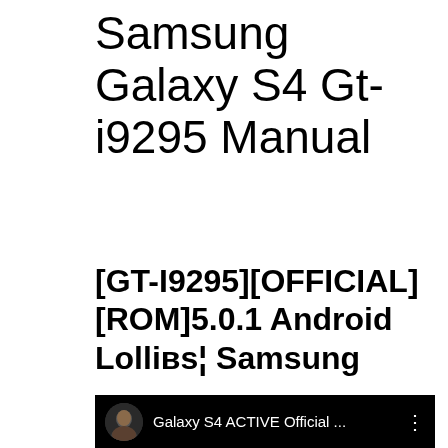Samsung Galaxy S4 Gt-i9295 Manual
[GT-I9295][OFFICIAL][ROM]5.0.1 Android Lollиβ¦ Samsung
[Figure (screenshot): YouTube video thumbnail showing Galaxy S4 ACTIVE Official video with a Samsung Galaxy S4 smartphone displaying Android Lollipop interface on a wooden surface background]